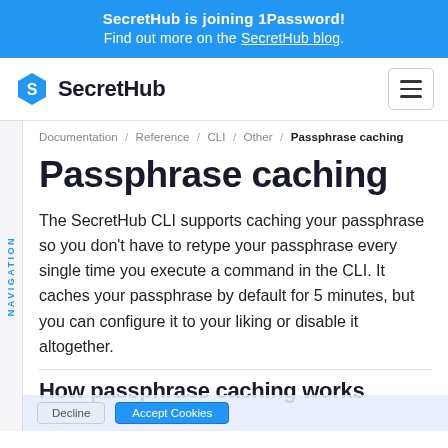SecretHub is joining 1Password! Find out more on the SecretHub blog.
[Figure (logo): SecretHub logo with hexagon icon and text 'SecretHub']
Documentation / Reference / CLI / Other / Passphrase caching
Passphrase caching
The SecretHub CLI supports caching your passphrase so you don't have to retype your passphrase every single time you execute a command in the CLI. It caches your passphrase by default for 5 minutes, but you can configure it to your liking or disable it altogether.
How passphrase caching works